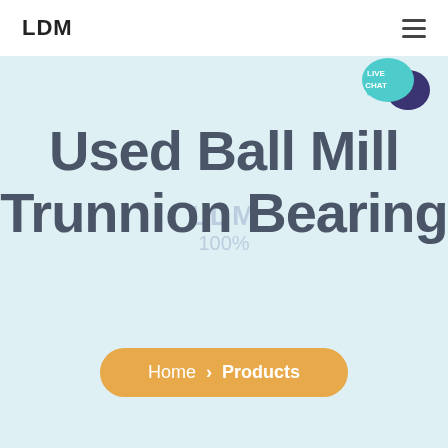LDM
[Figure (illustration): Live chat speech bubble icon with teal/cyan background and dark blue overlapping bubble. Text reads LIVE CHAT in white.]
Used Ball Mill Trunnion Bearing
Home > Products